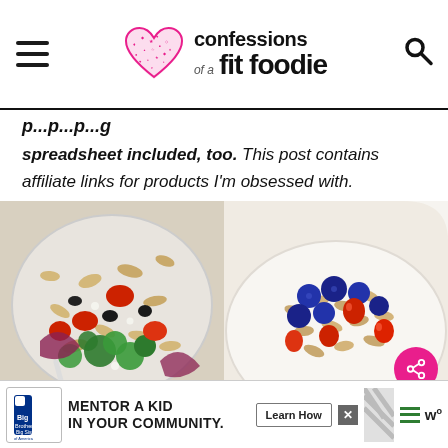confessions of a fit foodie
spreadsheet included, too. This post contains affiliate links for products I'm obsessed with.
[Figure (photo): Bowl of pasta salad with rotini, broccoli, cherry tomatoes, red onion, and black olives viewed from above]
[Figure (photo): Close-up bowl of granola/oatmeal topped with blueberries and red berries/strawberries]
MENTOR A KID IN YOUR COMMUNITY. Learn How